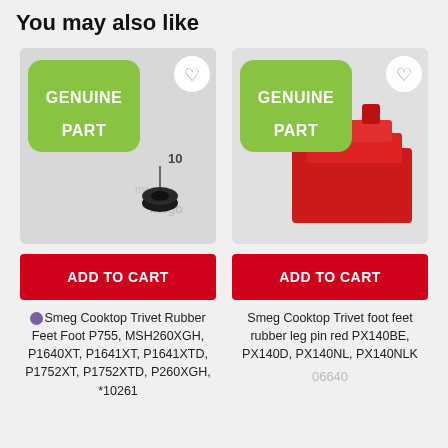You may also like
[Figure (photo): Product image of a black rubber trivet foot/grommet on a light gray background with 'GENUINE PART' green badge overlay and a heart icon button]
[Figure (photo): Product image of a red plastic trivet rubber leg/pin part on a light background with 'GENUINE PART' green badge overlay and a heart icon button]
ADD TO CART
ADD TO CART
Smeg Cooktop Trivet Rubber Feet Foot P755, MSH260XGH, P1640XT, P1641XT, P1641XTD, P1752XT, P1752XTD, P260XGH, *10261
Smeg Cooktop Trivet foot feet rubber leg pin red PX140BE, PX140D, PX140NL, PX140NLK
06640